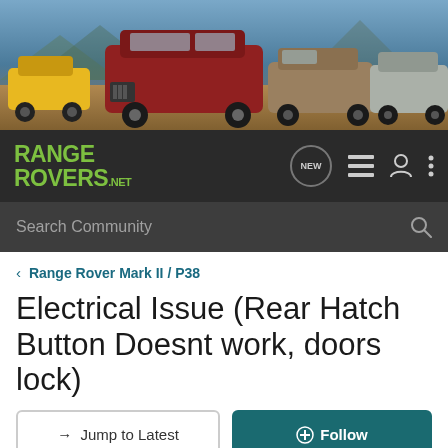[Figure (photo): Hero banner showing four Range Rover vehicles (yellow classic, red modern, brown/gold, silver) against a mountainous background]
[Figure (logo): RangeRovers.net logo in green on dark navigation bar with NEW chat icon, list icon, profile icon, and menu dots]
Search Community
< Range Rover Mark II / P38
Electrical Issue (Rear Hatch Button Doesnt work, doors lock)
→ Jump to Latest
+ Follow
1 - 6 of 6 Posts
smartalok · Registered